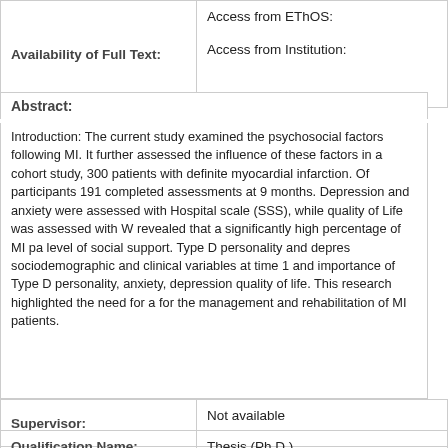| Availability of Full Text: | Access from EThOS: / Access from Institution: |
| --- | --- |
| Availability of Full Text: | Access from EThOS:
Access from Institution: |
Abstract:
Introduction: The current study examined the psychosocial factors following MI. It further assessed the influence of these factors in a cohort study, 300 patients with definite myocardial infarction. Of participants 191 completed assessments at 9 months. Depression and anxiety were assessed with Hospital scale (SSS), while quality of Life was assessed with W revealed that a significantly high percentage of MI pa level of social support. Type D personality and depre sociodemographic and clinical variables at time 1 and importance of Type D personality, anxiety, depression quality of life. This research highlighted the need for a for the management and rehabilitation of MI patients.
| Supervisor: |  |
| --- | --- |
| Supervisor: | Not available |
| Qualification Name: |  |
| --- | --- |
| Qualification Name: | Thesis (Ph.D.) |